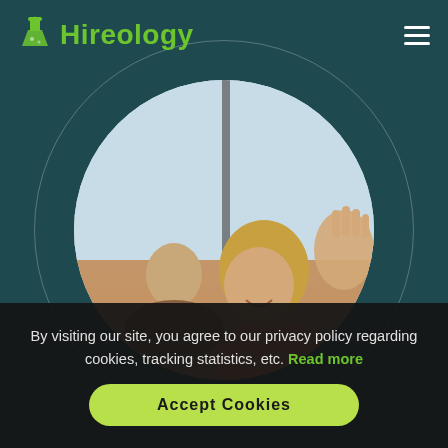[Figure (logo): Hireology logo: green flask/beaker icon followed by green bold text 'Hireology']
[Figure (photo): Circular cropped photo of two people smiling, woman with blonde hair raising hand, man in background, bright indoor setting with large window]
By visiting our site, you agree to our privacy policy regarding cookies, tracking statistics, etc. Read more
Accept Cookies